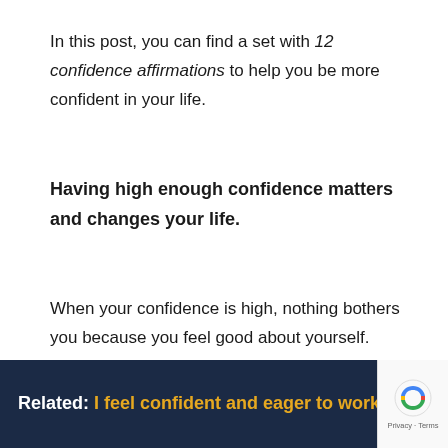In this post, you can find a set with 12 confidence affirmations to help you be more confident in your life.
Having high enough confidence matters and changes your life.
When your confidence is high, nothing bothers you because you feel good about yourself. Furthermore, you take action and deal with the challenges you face on time.
Related: I feel confident and eager to work on my dreams!